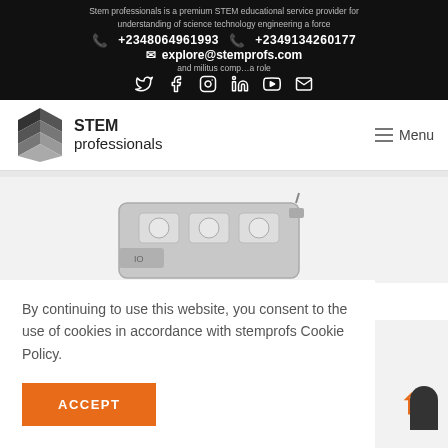STEM professionals website header with contact info and navigation
+2348064961993  +2349134260177
explore@stemprofs.com
[Figure (screenshot): Social media icons: Twitter, Facebook, Instagram, LinkedIn, YouTube, Email]
[Figure (logo): STEM professionals logo with layered diamond icon and text]
[Figure (photo): Partial product image of a STEM/electronics device on grey background]
By continuing to use this website, you consent to the use of cookies in accordance with stemprofs Cookie Policy.
ACCEPT